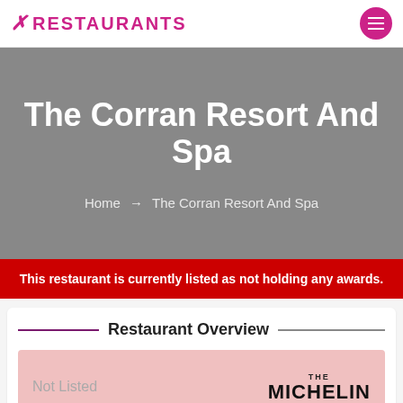✗ Restaurants
The Corran Resort And Spa
Home → The Corran Resort And Spa
This restaurant is currently listed as not holding any awards.
Restaurant Overview
Not Listed   THE MICHELIN